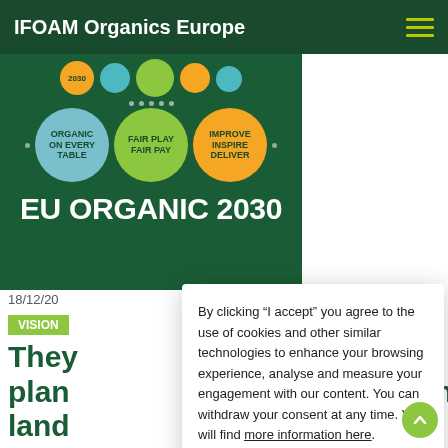IFOAM Organics Europe
[Figure (infographic): EU Organic 2030 infographic on dark green background showing colored circles with labels: '2030' (orange, top), 'ORGANIC ON EVERY TABLE' (light blue), 'FAIR PLAY FAIR PAY' (green), 'IMPROVE INSPIRE DELIVER' (orange), and large text 'EU ORGANIC 2030']
18/12/20
VISION
They plan land people
By clicking “I accept” you agree to the use of cookies and other similar technologies to enhance your browsing experience, analyse and measure your engagement with our content. You can withdraw your consent at any time. You will find more information here.
I accept
I do not accept